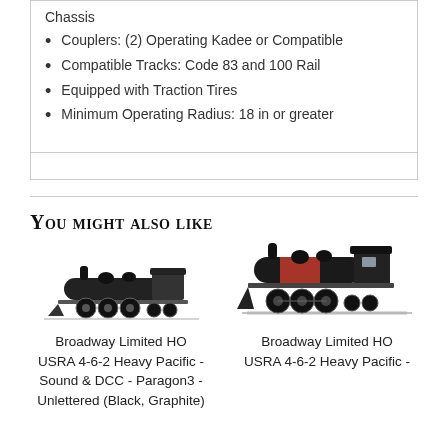Chassis
Couplers: (2) Operating Kadee or Compatible
Compatible Tracks: Code 83 and 100 Rail
Equipped with Traction Tires
Minimum Operating Radius: 18 in or greater
You might also like
[Figure (photo): Broadway Limited HO USRA 4-6-2 Heavy Pacific steam locomotive, black, side view on white background]
Broadway Limited HO USRA 4-6-2 Heavy Pacific - Sound & DCC - Paragon3 - Unlettered (Black, Graphite)
[Figure (photo): Broadway Limited HO USRA 4-6-2 Heavy Pacific steam locomotive with red and black paint, three-quarter view on track]
Broadway Limited HO USRA 4-6-2 Heavy Pacific -